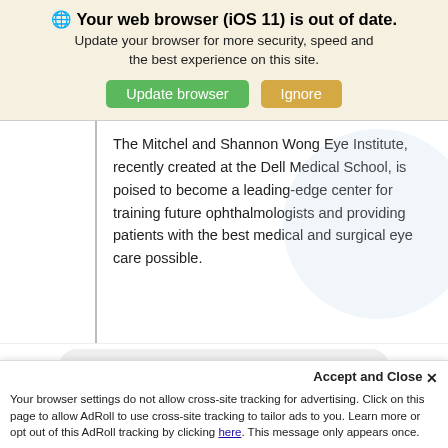🌐 Your web browser (iOS 11) is out of date. Update your browser for more security, speed and the best experience on this site.
The Mitchel and Shannon Wong Eye Institute, recently created at the Dell Medical School, is poised to become a leading-edge center for training future ophthalmologists and providing patients with the best medical and surgical eye care possible.
LEARN MORE
Accept and Close ✕
Your browser settings do not allow cross-site tracking for advertising. Click on this page to allow AdRoll to use cross-site tracking to tailor ads to you. Learn more or opt out of this AdRoll tracking by clicking here. This message only appears once.